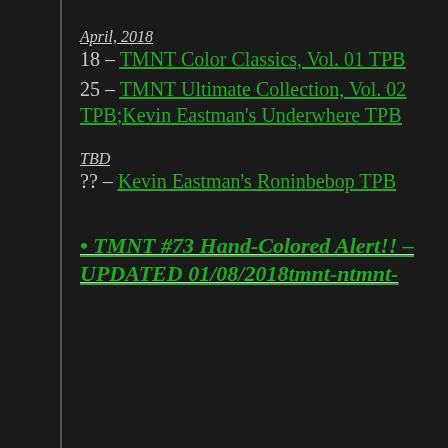April, 2018
18 – TMNT Color Classics, Vol. 01 TPB
25 – TMNT Ultimate Collection, Vol. 02 TPB;Kevin Eastman's Underwhere TPB
TBD
?? – Kevin Eastman's Roninbebop TPB
• TMNT #73 Hand-Colored Alert!! – UPDATED 01/08/2018tmnt-ntmnt-